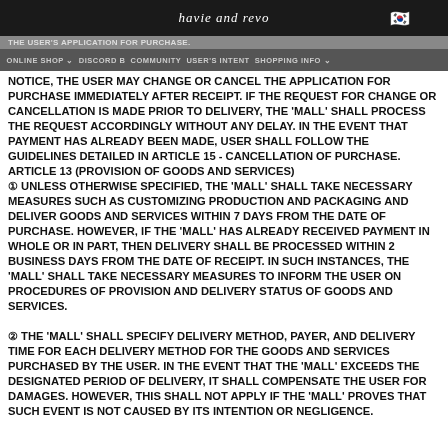havie and revo
THE USER'S APPLICATION FOR PURCHASE.
ONLINE SHOP  DISCORD B  COMMUNITY  USER'S INTENT  SHOPPING INFO
NOTICE, THE USER MAY CHANGE OR CANCEL THE APPLICATION FOR PURCHASE IMMEDIATELY AFTER RECEIPT. IF THE REQUEST FOR CHANGE OR CANCELLATION IS MADE PRIOR TO DELIVERY, THE 'MALL' SHALL PROCESS THE REQUEST ACCORDINGLY WITHOUT ANY DELAY. IN THE EVENT THAT PAYMENT HAS ALREADY BEEN MADE, USER SHALL FOLLOW THE GUIDELINES DETAILED IN ARTICLE 15 - CANCELLATION OF PURCHASE.
ARTICLE 13 (PROVISION OF GOODS AND SERVICES)
① UNLESS OTHERWISE SPECIFIED, THE 'MALL' SHALL TAKE NECESSARY MEASURES SUCH AS CUSTOMIZING PRODUCTION AND PACKAGING AND DELIVER GOODS AND SERVICES WITHIN 7 DAYS FROM THE DATE OF PURCHASE. HOWEVER, IF THE 'MALL' HAS ALREADY RECEIVED PAYMENT IN WHOLE OR IN PART, THEN DELIVERY SHALL BE PROCESSED WITHIN 2 BUSINESS DAYS FROM THE DATE OF RECEIPT. IN SUCH INSTANCES, THE 'MALL' SHALL TAKE NECESSARY MEASURES TO INFORM THE USER ON PROCEDURES OF PROVISION AND DELIVERY STATUS OF GOODS AND SERVICES.

② THE 'MALL' SHALL SPECIFY DELIVERY METHOD, PAYER, AND DELIVERY TIME FOR EACH DELIVERY METHOD FOR THE GOODS AND SERVICES PURCHASED BY THE USER. IN THE EVENT THAT THE 'MALL' EXCEEDS THE DESIGNATED PERIOD OF DELIVERY, IT SHALL COMPENSATE THE USER FOR DAMAGES. HOWEVER, THIS SHALL NOT APPLY IF THE 'MALL' PROVES THAT SUCH EVENT IS NOT CAUSED BY ITS INTENTION OR NEGLIGENCE.